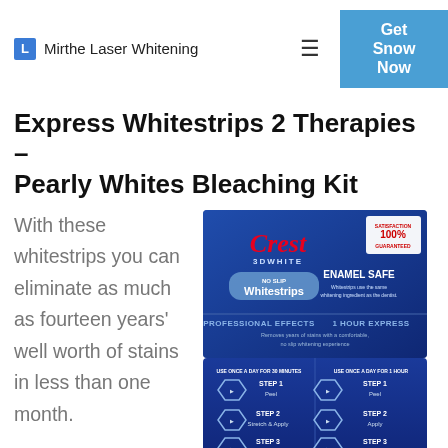Mirthe Laser Whitening
Express Whitestrips 2 Therapies – Pearly Whites Bleaching Kit
With these whitestrips you can eliminate as much as fourteen years' well worth of stains in less than one month.
[Figure (photo): Crest 3D White Whitestrips product package showing ENAMEL SAFE NO SLIP Whitestrips, PROFESSIONAL EFFECTS and 1 HOUR EXPRESS panels, with step-by-step instructions for both 30-minute and 1-hour usage.]